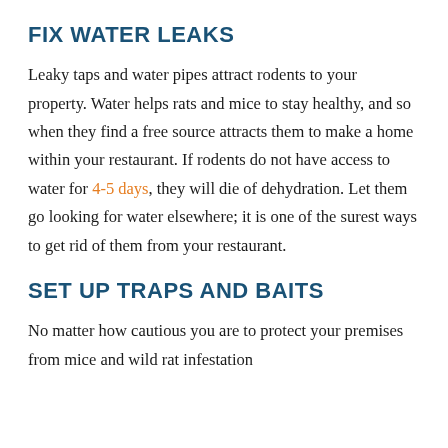FIX WATER LEAKS
Leaky taps and water pipes attract rodents to your property. Water helps rats and mice to stay healthy, and so when they find a free source attracts them to make a home within your restaurant. If rodents do not have access to water for 4-5 days, they will die of dehydration. Let them go looking for water elsewhere; it is one of the surest ways to get rid of them from your restaurant.
SET UP TRAPS AND BAITS
No matter how cautious you are to protect your premises from mice and wild rat infestation